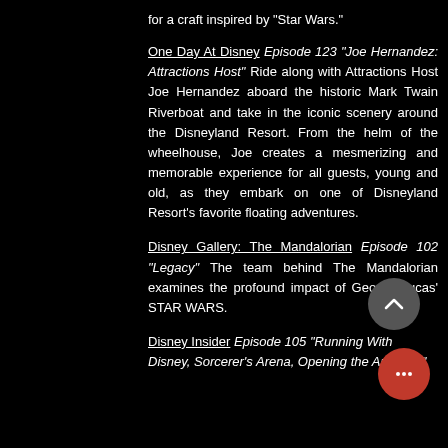for a craft inspired by "Star Wars."
One Day At Disney Episode 123 "Joe Hernandez: Attractions Host" Ride along with Attractions Host Joe Hernandez aboard the historic Mark Twain Riverboat and take in the iconic scenery around the Disneyland Resort. From the helm of the wheelhouse, Joe creates a mesmerizing and memorable experience for all guests, young and old, as they embark on one of Disneyland Resort's favorite floating adventures.
Disney Gallery: The Mandalorian Episode 102 "Legacy" The team behind The Mandalorian examines the profound impact of George Lucas' STAR WARS.
Disney Insider Episode 105 "Running With Disney, Sorcerer's Arena, Opening the Archives"